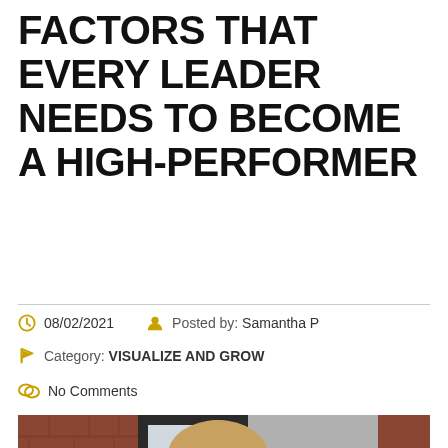FACTORS THAT EVERY LEADER NEEDS TO BECOME A HIGH-PERFORMER
08/02/2021   Posted by: Samantha P
Category: VISUALIZE AND GROW
No Comments
[Figure (photo): A focused young woman with long blonde hair and glasses working at a desk in an office with brick walls and windows in the background]